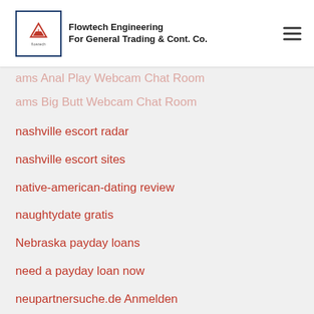Flowtech Engineering For General Trading & Cont. Co.
ams Anal Play Webcam Chat Room
ams Big Butt Webcam Chat Room
nashville escort radar
nashville escort sites
native-american-dating review
naughtydate gratis
Nebraska payday loans
need a payday loan now
neupartnersuche.de Anmelden
neupartnersuche.de Bewertungen
Nevada installment loans
nevada-henderson-dating reviews
New Mexico installment loan